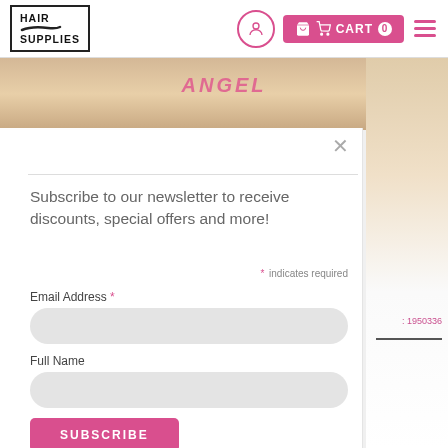[Figure (logo): Hair Supplies logo in bordered box with brush stroke graphic]
[Figure (screenshot): Navigation header with user icon, pink cart button showing CART 0, and hamburger menu]
[Figure (screenshot): Newsletter subscription modal overlay with close X button, divider, subscribe text, required note, email and full name fields, and pink SUBSCRIBE button]
Subscribe to our newsletter to receive discounts, special offers and more!
* indicates required
Email Address *
Full Name
SUBSCRIBE
: 1950336